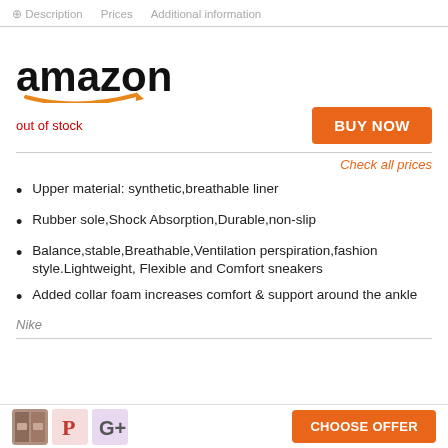Description | Prices | Additional information
[Figure (logo): Amazon logo with orange swoosh arrow]
out of stock
BUY NOW
Check all prices
Upper material: synthetic,breathable liner
Rubber sole,Shock Absorption,Durable,non-slip
Balance,stable,Breathable,Ventilation perspiration,fashion style.Lightweight, Flexible and Comfort sneakers
Added collar foam increases comfort & support around the ankle
Nike
CHOOSE OFFER